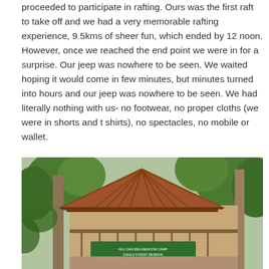proceeded to participate in rafting. Ours was the first raft to take off and we had a very memorable rafting experience, 9.5kms of sheer fun, which ended by 12 noon. However, once we reached the end point we were in for a surprise. Our jeep was nowhere to be seen. We waited hoping it would come in few minutes, but minutes turned into hours and our jeep was nowhere to be seen. We had literally nothing with us- no footwear, no proper cloths (we were in shorts and t shirts), no spectacles, no mobile or wallet.
[Figure (photo): Outdoor photo of a building with a wooden slanted roof, surrounded by trees. A green sign with white text is visible on the building facade.]